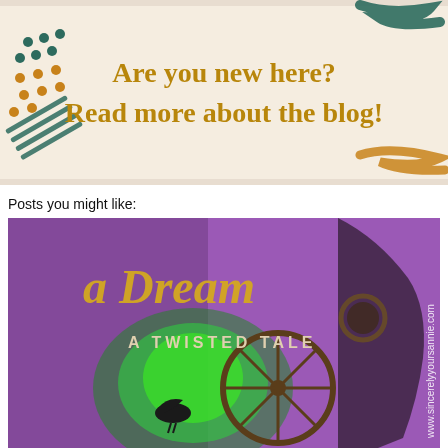[Figure (illustration): Blog banner with cream/beige background, decorative abstract shapes (dark teal brushstrokes, orange/gold dots, golden brushstroke), and text 'Are you new here? Read more about the blog!' in gold serif font.]
Posts you might like:
[Figure (photo): Book cover image for 'a Dream: A Twisted Tale' featuring a steampunk-styled female silhouette in profile with goggles, green glowing smoke, a spinning wheel, and a raven, against a purple background. Text 'www.sincerelyyoursannie.com' appears vertically on the right side.]